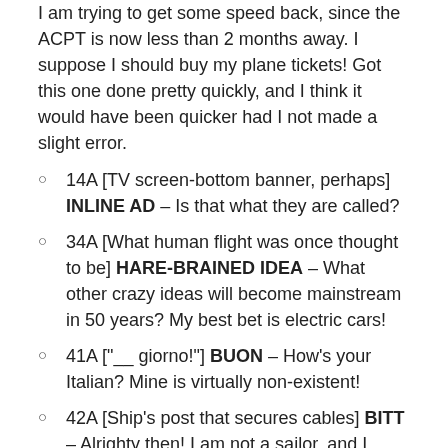I am trying to get some speed back, since the ACPT is now less than 2 months away. I suppose I should buy my plane tickets! Got this one done pretty quickly, and I think it would have been quicker had I not made a slight error.
14A [TV screen-bottom banner, perhaps] INLINE AD – Is that what they are called?
34A [What human flight was once thought to be] HARE-BRAINED IDEA – What other crazy ideas will become mainstream in 50 years? My best bet is electric cars!
41A ["__ giorno!"] BUON – How's your Italian? Mine is virtually non-existent!
42A [Ship's post that secures cables] BITT – Alrighty then! I am not a sailor, and I barely remember this word.
55A [Crossed the lake, say] BOATED –